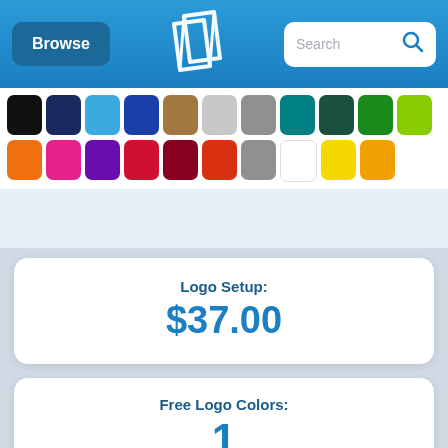Browse | [QLP Logo] | Search
[Figure (infographic): Color swatch palette showing two rows of colored squares: Row 1: black, dark navy, light blue, dark blue, tan/brown, light gray, medium gray, teal, dark teal, green, lime green. Row 2: orange, hot pink, purple, bright red, dark red/maroon, red-orange, medium gray, white, yellow, amber/gold.]
Logo Setup: $37.00
Free Logo Colors: 1